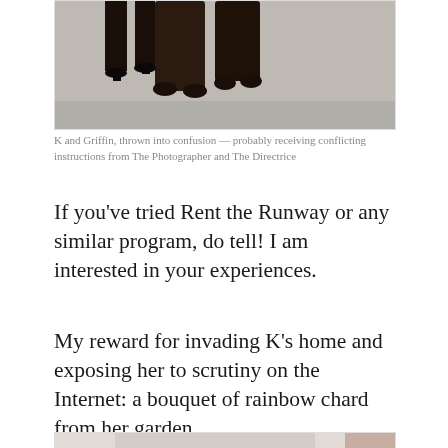[Figure (photo): Close-up photo showing legs and paws of a person in black heels and a dark dog, standing on pavement]
K and Griffin, thrown into confusion — probably receiving conflicting instructions from The Photographer and The Directrice
If you've tried Rent the Runway or any similar program, do tell! I am interested in your experiences.
My reward for invading K’s home and exposing her to scrutiny on the Internet: a bouquet of rainbow chard from her garden.
[Figure (photo): Woman holding green plants/bouquet, standing in a garden with a wooden fence and brick wall behind her, wearing a white patterned top]